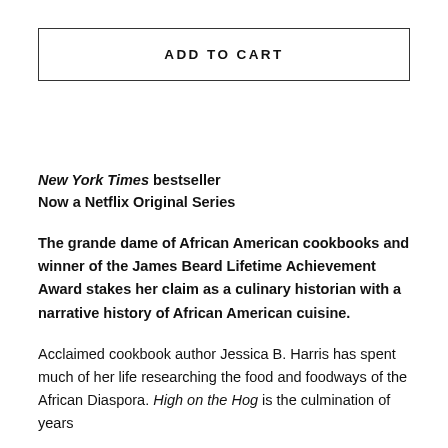ADD TO CART
New York Times bestseller
Now a Netflix Original Series
The grande dame of African American cookbooks and winner of the James Beard Lifetime Achievement Award stakes her claim as a culinary historian with a narrative history of African American cuisine.
Acclaimed cookbook author Jessica B. Harris has spent much of her life researching the food and foodways of the African Diaspora. High on the Hog is the culmination of years